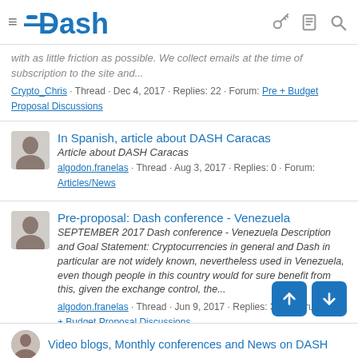Dash
with as little friction as possible. We collect emails at the time of subscription to the site and...
Crypto_Chris · Thread · Dec 4, 2017 · Replies: 22 · Forum: Pre + Budget Proposal Discussions
In Spanish, article about DASH Caracas
Article about DASH Caracas
algodon.franelas · Thread · Aug 3, 2017 · Replies: 0 · Forum: Articles/News
Pre-proposal: Dash conference - Venezuela
SEPTEMBER 2017 Dash conference - Venezuela Description and Goal Statement: Cryptocurrencies in general and Dash in particular are not widely known, nevertheless used in Venezuela, even though people in this country would for sure benefit from this, given the exchange control, the...
algodon.franelas · Thread · Jun 9, 2017 · Replies: 391 · Forum: Pre + Budget Proposal Discussions
Video blogs, Monthly conferences and News on DASH